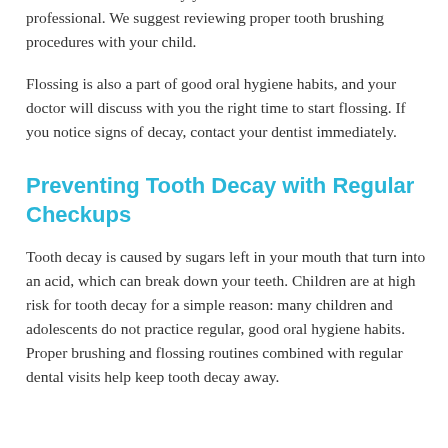unless advised to do so by your dentist or other healthcare professional. We suggest reviewing proper tooth brushing procedures with your child.
Flossing is also a part of good oral hygiene habits, and your doctor will discuss with you the right time to start flossing. If you notice signs of decay, contact your dentist immediately.
Preventing Tooth Decay with Regular Checkups
Tooth decay is caused by sugars left in your mouth that turn into an acid, which can break down your teeth. Children are at high risk for tooth decay for a simple reason: many children and adolescents do not practice regular, good oral hygiene habits. Proper brushing and flossing routines combined with regular dental visits help keep tooth decay away.